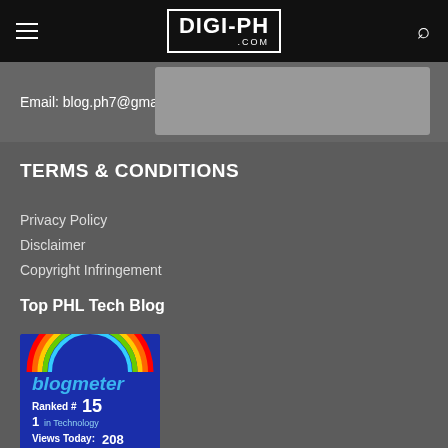DIGI-PH.COM
Email: blog.ph7@gmail.com
TERMS & CONDITIONS
Privacy Policy
Disclaimer
Copyright Infringement
Top PHL Tech Blog
[Figure (other): Blogmeter badge showing Ranked #15, 1 in Technology, Views Today: 208, CHECK AND VISIT]